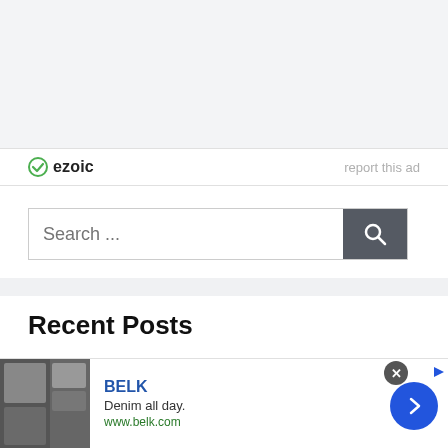[Figure (screenshot): Top gray background area representing ad/banner space]
[Figure (logo): Ezoic logo with green circular icon and bold text 'ezoic', with 'report this ad' text on the right]
[Figure (screenshot): Search bar with placeholder text 'Search ...' and a dark gray search button with magnifying glass icon]
Recent Posts
[Figure (screenshot): Advertisement banner: BELK brand, 'Denim all day.' tagline, www.belk.com URL, with close button (x) and next arrow button]